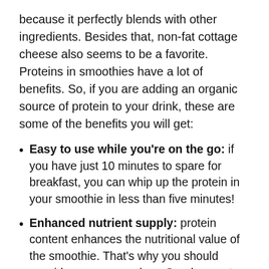because it perfectly blends with other ingredients. Besides that, non-fat cottage cheese also seems to be a favorite. Proteins in smoothies have a lot of benefits. So, if you are adding an organic source of protein to your drink, these are some of the benefits you will get:
Easy to use while you're on the go: if you have just 10 minutes to spare for breakfast, you can whip up the protein in your smoothie in less than five minutes!
Enhanced nutrient supply: protein content enhances the nutritional value of the smoothie. That's why you should consider sources such as Greek yogurt, hemp seeds, and green veggies.
Supporting your daily protein requirement